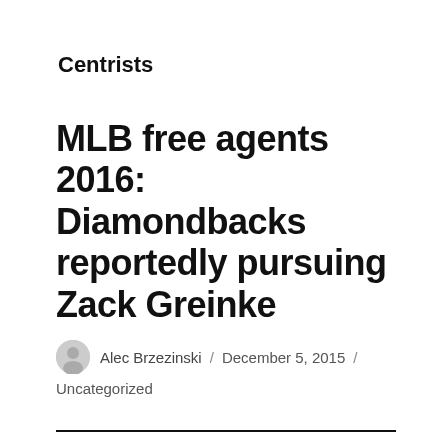Centrists
MLB free agents 2016: Diamondbacks reportedly pursuing Zack Greinke
Alec Brzezinski / December 5, 2015 /
Uncategorized